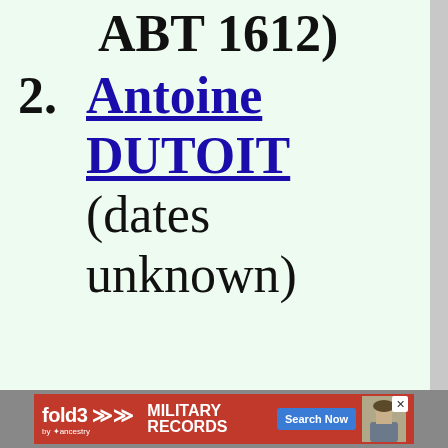ABT 1612)
2. Antoine DUTOIT (dates unknown)